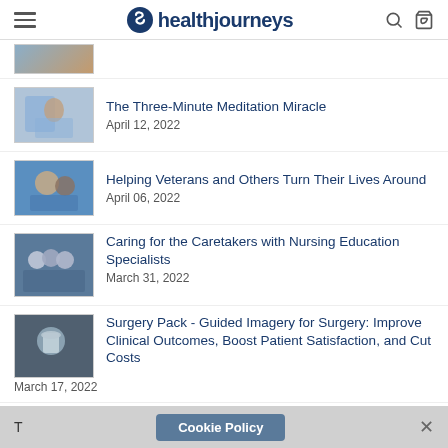healthjourneys
[Figure (photo): Partial thumbnail image at top, cut off]
The Three-Minute Meditation Miracle
April 12, 2022
Helping Veterans and Others Turn Their Lives Around
April 06, 2022
Caring for the Caretakers with Nursing Education Specialists
March 31, 2022
Surgery Pack - Guided Imagery for Surgery: Improve Clinical Outcomes, Boost Patient Satisfaction, and Cut Costs
March 17, 2022
ARCHIVE
Cookie Policy